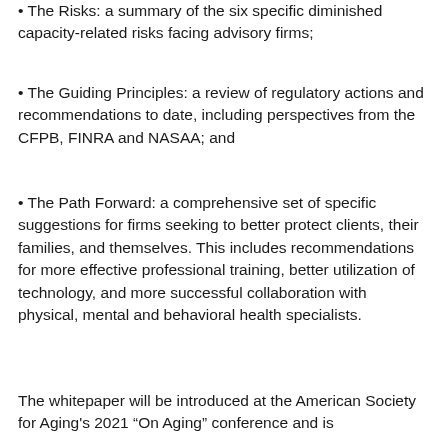• The Risks: a summary of the six specific diminished capacity-related risks facing advisory firms;
• The Guiding Principles: a review of regulatory actions and recommendations to date, including perspectives from the CFPB, FINRA and NASAA; and
• The Path Forward: a comprehensive set of specific suggestions for firms seeking to better protect clients, their families, and themselves. This includes recommendations for more effective professional training, better utilization of technology, and more successful collaboration with physical, mental and behavioral health specialists.
The whitepaper will be introduced at the American Society for Aging's 2021 “On Aging” conference and is